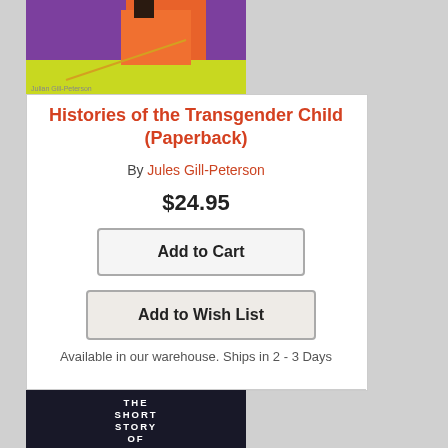[Figure (illustration): Book cover for 'Histories of the Transgender Child' by Julian Gill-Peterson. Colorful abstract shapes in purple, orange, yellow, and green background.]
Histories of the Transgender Child (Paperback)
By Jules Gill-Peterson
$24.95
Add to Cart
Add to Wish List
Available in our warehouse. Ships in 2 - 3 Days
[Figure (illustration): Book cover for 'The Short Story of Science'. Dark background with white/light-colored face image. White bold text reads THE SHORT STORY OF SCIENCE.]